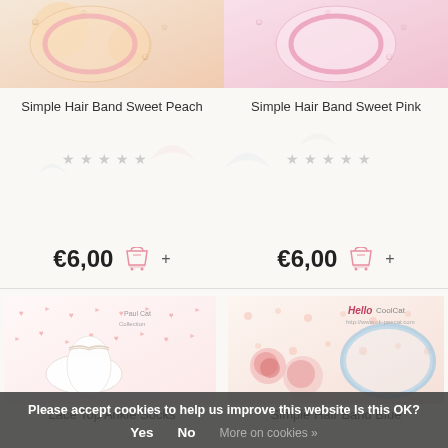[Figure (photo): Product photo of Simple Hair Band Sweet Peach - top portion visible with decorative background]
[Figure (photo): Product photo of Simple Hair Band Sweet Pink - top portion visible with decorative background]
Simple Hair Band Sweet Peach
Simple Hair Band Sweet Pink
€6,00
€6,00
[Figure (photo): Product photo of Lace Top Ankle Socks with pink heart pattern background, brand logo visible]
[Figure (photo): Product photo of Simple Hair Band Blue with roses and polka dot background, Hello Cool Cat branding]
Lace Top Ankle Socks
Simple Hair Band Blue
Please accept cookies to help us improve this website Is this OK?
Yes
No
More on cookies »